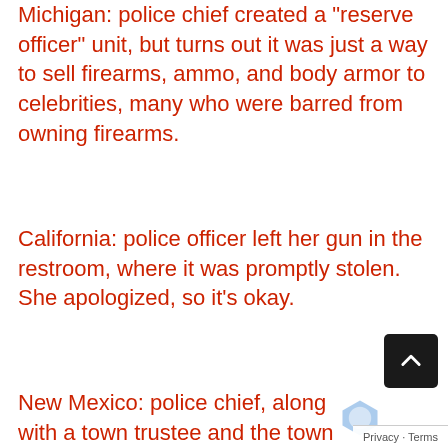Michigan: police chief created a "reserve officer" unit, but turns out it was just a way to sell firearms, ammo, and body armor to celebrities, many who were barred from owning firearms.
California: police officer left her gun in the restroom, where it was promptly stolen.  She apologized, so it's okay.
New Mexico: police chief, along with a town trustee and the town mayor, was busted for running guns to a brutal Mexican drug cartel.
Missouri: police chief was purchasing firearms with city funds then those firearms went “missing”.
North Carolina: police chief was arrested for selli...